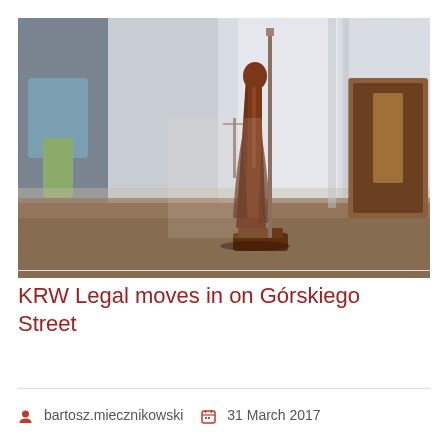[Figure (photo): A bronze Lady Justice figurine standing on a wooden desk, with curtains and a blurred office background. The statue holds a scale and a sword.]
KRW Legal moves in on Górskiego Street
bartosz.miecznikowski   31 March 2017